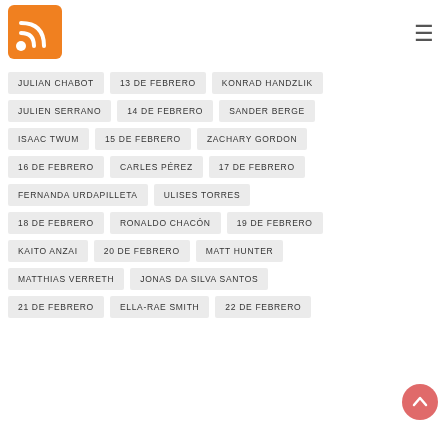[Figure (logo): RSS feed orange icon with white signal waves]
JULIAN CHABOT
13 DE FEBRERO
KONRAD HANDZLIK
JULIEN SERRANO
14 DE FEBRERO
SANDER BERGE
ISAAC TWUM
15 DE FEBRERO
ZACHARY GORDON
16 DE FEBRERO
CARLES PÉREZ
17 DE FEBRERO
FERNANDA URDAPILLETA
ULISES TORRES
18 DE FEBRERO
RONALDO CHACÓN
19 DE FEBRERO
KAITO ANZAI
20 DE FEBRERO
MATT HUNTER
MATTHIAS VERRETH
JONAS DA SILVA SANTOS
21 DE FEBRERO
ELLA-RAE SMITH
22 DE FEBRERO